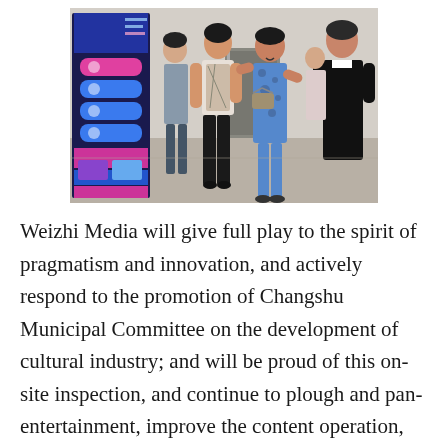[Figure (photo): A group of people standing in a corridor or hallway. On the left is a promotional banner/display board with Chinese text and colorful graphics. Several people are engaged in conversation, including a woman in a floral top and black pants, a woman in a blue floral dress with a handbag, and a man in a black outfit facing them. Other people are visible in the background.]
Weizhi Media will give full play to the spirit of pragmatism and innovation, and actively respond to the promotion of Changshu Municipal Committee on the development of cultural industry; and will be proud of this on-site inspection, and continue to plough and pan-entertainment, improve the content operation, build a green content ecology...